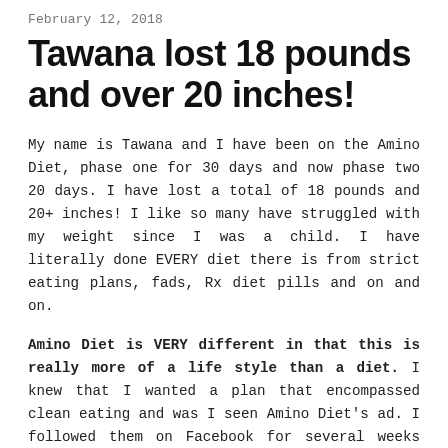February 12, 2018
Tawana lost 18 pounds and over 20 inches!
My name is Tawana and I have been on the Amino Diet, phase one for 30 days and now phase two 20 days. I have lost a total of 18 pounds and 20+ inches! I like so many have struggled with my weight since I was a child. I have literally done EVERY diet there is from strict eating plans, fads, Rx diet pills and on and on.
Amino Diet is VERY different in that this is really more of a life style than a diet. I knew that I wanted a plan that encompassed clean eating and was I seen Amino Diet's ad. I followed them on Facebook for several weeks and could not believe the results people were